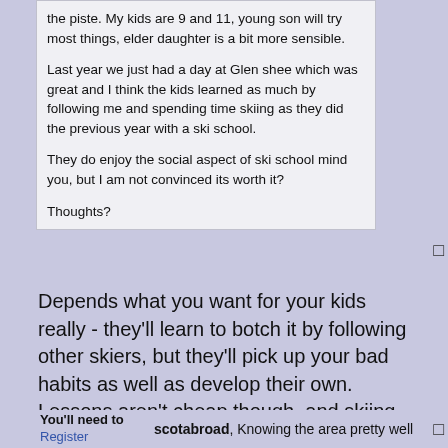the piste. My kids are 9 and 11, young son will try most things, elder daughter is a bit more sensible.

Last year we just had a day at Glen shee which was great and I think the kids learned as much by following me and spending time skiing as they did the previous year with a ski school.

They do enjoy the social aspect of ski school mind you, but I am not convinced its worth it?

Thoughts?
Depends what you want for your kids really - they'll learn to botch it by following other skiers, but they'll pick up your bad habits as well as develop their own. Lessons aren't cheap though, and skiing beats not skiing if budget is the dealbreaker.
You'll need to Register
scotabroad, Knowing the area pretty well